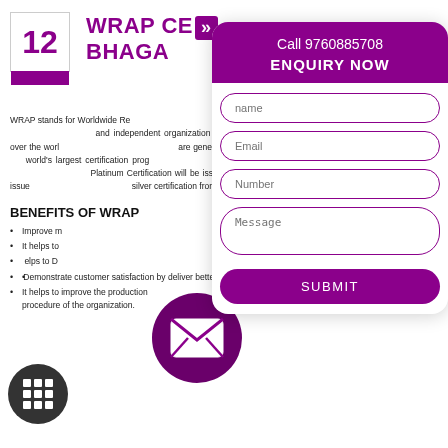12
WRAP CERTIFICATION IN BHAGALPUR
WRAP stands for Worldwide Responsible Accredited Production focused on the apparel, sewn products and footwear sectors and independent organization dedicated to the promotion of manufacturing all over the world. The standards of the WRAP are generally based on the workplace standards. WRAP is the world's largest certification program for the sewn sector. Wrap certification is divided into Gold, Silver and Platinum. Platinum Certification will be issued for 2 years. Gold certification from WRAP is issued for 1year and Silver. The silver certification from WRAP is issued for 6 months.
BENEFITS OF WRAP CERTIFICATION
Improve market reputation.
It helps to gain the customer confidence.
It helps to Demonstrate lawful and ethical business operation.
Demonstrate customer satisfaction by deliver better product and services.
It helps to improve the production procedure of the organization.
[Figure (other): Purple email envelope icon in a dark purple circle]
[Figure (other): White grid/apps icon in a dark grey circle]
Call 9760885708
ENQUIRY NOW